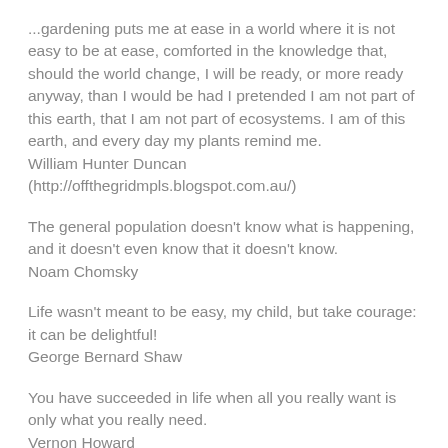...gardening puts me at ease in a world where it is not easy to be at ease, comforted in the knowledge that, should the world change, I will be ready, or more ready anyway, than I would be had I pretended I am not part of this earth, that I am not part of ecosystems. I am of this earth, and every day my plants remind me.
William Hunter Duncan
(http://offthegridmpls.blogspot.com.au/)
The general population doesn't know what is happening, and it doesn't even know that it doesn't know.
Noam Chomsky
Life wasn't meant to be easy, my child, but take courage: it can be delightful!
George Bernard Shaw
You have succeeded in life when all you really want is only what you really need.
Vernon Howard
When we think about climate change (if we think about it at all), we envision rising temperatures, prolonged